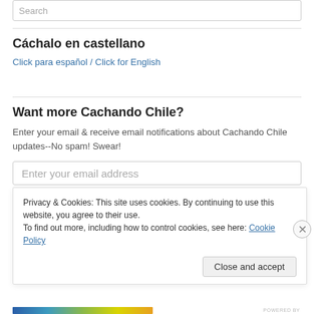Search
Cáchalo en castellano
Click para español / Click for English
Want more Cachando Chile?
Enter your email & receive email notifications about Cachando Chile updates--No spam! Swear!
Enter your email address
Privacy & Cookies: This site uses cookies. By continuing to use this website, you agree to their use.
To find out more, including how to control cookies, see here: Cookie Policy
Close and accept